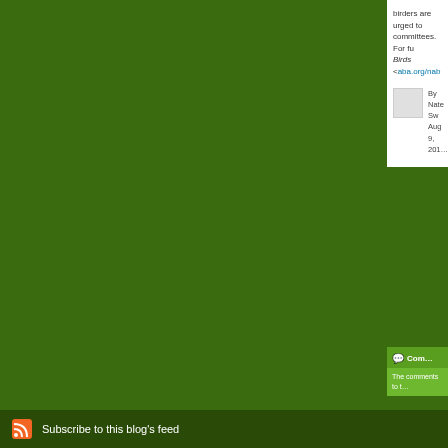birders are urged to committees. For fu Birds <aba.org/nab...
By Nate Sw Aug 9, 201...
Com...
The comments to t...
P...
#ABArare - South Oklahoma's first So a few records for th...
Subscribe to this blog's feed